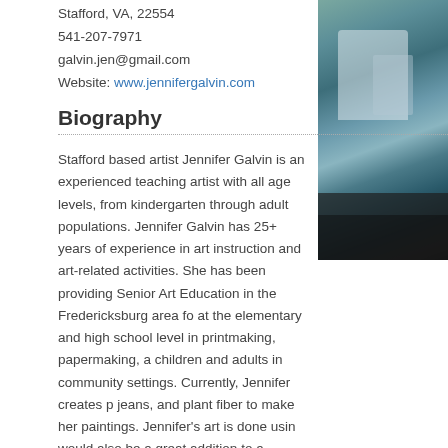Stafford, VA, 22554
541-207-7971
galvin.jen@gmail.com
Website: www.jennifergalvin.com
[Figure (photo): Artwork photograph showing a blue-green mixed media painting, possibly of a building or landscape with dark elements at the bottom]
Biography
Stafford based artist Jennifer Galvin is an experienced teaching artist with all age levels, from kindergarten through adult populations. Jennifer Galvin has 25+ years of experience in art instruction and art-related activities. She has been providing Senior Art Education in the Fredericksburg area fo... at the elementary and high school level in printmaking, papermaking, a... children and adults in community settings. Currently, Jennifer creates p... jeans, and plant fiber to make her paintings. Jennifer's art is done usin... would also be a great addition to a recycling/Earth Day unit. In additio... Jennifer is skilled in mixed media art, painting, printmaking, and poetry... teachers to integrate art into the curriculum to give students another o... art. Jennifer also enjoys teaching classes that are community art o...